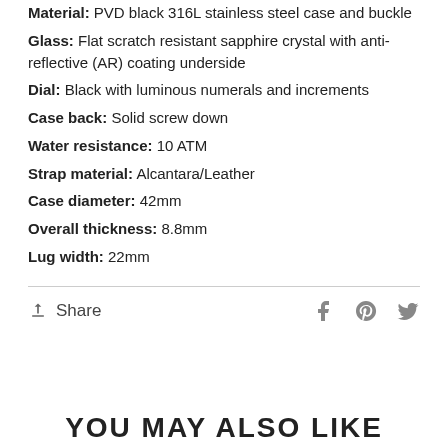Material: PVD black 316L stainless steel case and buckle
Glass: Flat scratch resistant sapphire crystal with anti-reflective (AR) coating underside
Dial: Black with luminous numerals and increments
Case back: Solid screw down
Water resistance: 10 ATM
Strap material: Alcantara/Leather
Case diameter: 42mm
Overall thickness: 8.8mm
Lug width: 22mm
Share
YOU MAY ALSO LIKE